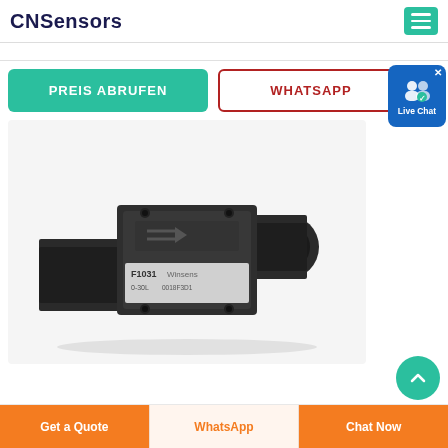CNSensors
[Figure (screenshot): PREIS ABRUFEN and WHATSAPP buttons with Live Chat widget]
[Figure (photo): Black flow sensor/meter device (F1031, 0-30L) with cylindrical pipe connectors on each side and electronics module in center]
Get a Quote | WhatsApp | Chat Now